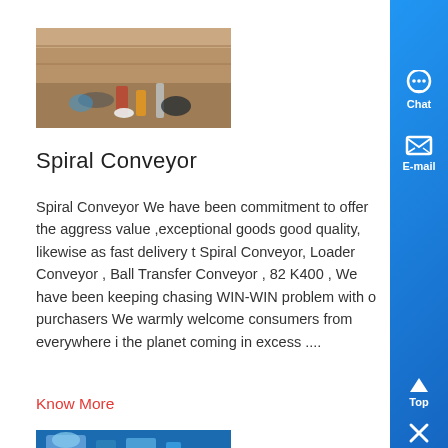[Figure (photo): Photo of various items including bottles, bags and objects on a surface with a wooden wall background]
Spiral Conveyor
Spiral Conveyor We have been commitment to offer the aggress value ,exceptional goods good quality, likewise as fast delivery t Spiral Conveyor, Loader Conveyor , Ball Transfer Conveyor , 82 K400 , We have been keeping chasing WIN-WIN problem with o purchasers We warmly welcome consumers from everywhere i the planet coming in excess ....
Know More
[Figure (photo): Partial photo visible at bottom, appears to be industrial equipment on blue background]
[Figure (screenshot): Blue sidebar with Chat, E-mail, Top, and close icons]